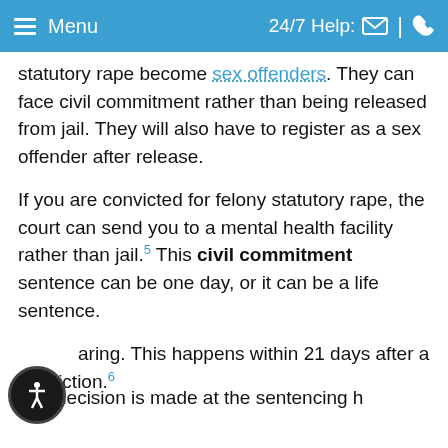Menu | 24/7 Help:
statutory rape become sex offenders. They can face civil commitment rather than being released from jail. They will also have to register as a sex offender after release.
If you are convicted for felony statutory rape, the court can send you to a mental health facility rather than jail.5 This civil commitment sentence can be one day, or it can be a life sentence.
The decision is made at the sentencing hearing. This happens within 21 days after a conviction.6